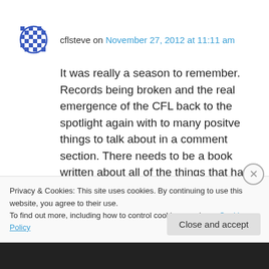cflsteve on November 27, 2012 at 11:11 am
It was really a season to remember. Records being broken and the real emergence of the CFL back to the spotlight again with to many positve things to talk about in a comment section. There needs to be a book written about all of the things that have happend over this year and really the past 5 years that have made the CFL so much better again.
Privacy & Cookies: This site uses cookies. By continuing to use this website, you agree to their use. To find out more, including how to control cookies, see here: Cookie Policy
Close and accept